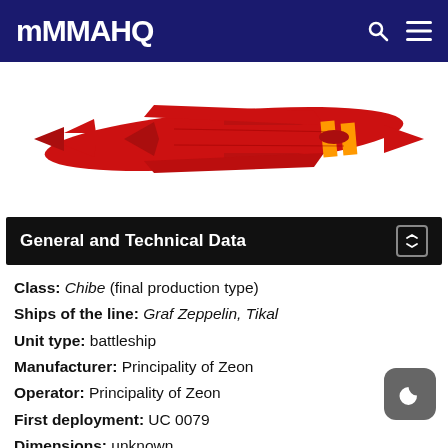MAHQ
[Figure (illustration): Red spacecraft/battleship illustration with orange stripe details, viewed from the side, on white background]
General and Technical Data
Class: Chibe (final production type)
Ships of the line: Graf Zeppelin, Tikal
Unit type: battleship
Manufacturer: Principality of Zeon
Operator: Principality of Zeon
First deployment: UC 0079
Dimensions: unknown
Weight: unknown
Propulsion: unknown
Equipment and design features: sensors, range